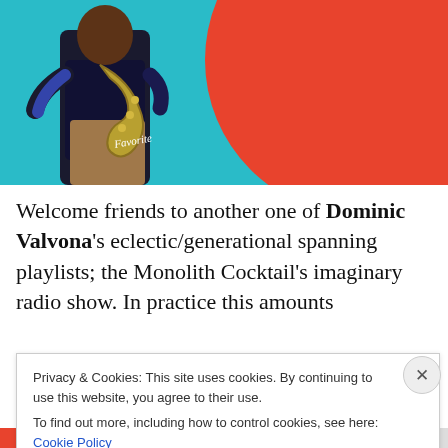[Figure (photo): Album cover or music-related photo showing a musician playing a horn/saxophone instrument, with a teal/cyan background and a large red circle. The word 'Favorite' appears in cursive white text on the image.]
Welcome friends to another one of Dominic Valvona's eclectic/generational spanning playlists; the Monolith Cocktail's imaginary radio show. In practice this amounts
Privacy & Cookies: This site uses cookies. By continuing to use this website, you agree to their use.
To find out more, including how to control cookies, see here: Cookie Policy
Close and accept